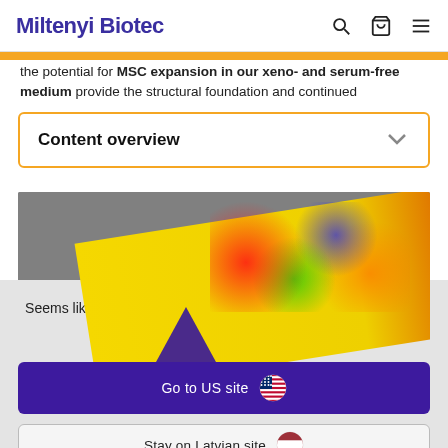Miltenyi Biotec
the potential for MSC expansion in our xeno- and serum-free medium provide the structural foundation and continued
Content overview
[Figure (photo): Scientific image showing a yellow gradient panel with colorful scatter dots overlay and a purple triangle, on a grey background]
Seems like you are coming from USA! Do you want to visit our website in your country?
Go to US site
Stay on Latvian site